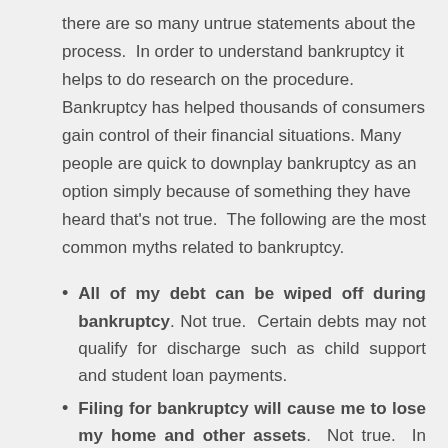there are so many untrue statements about the process.  In order to understand bankruptcy it helps to do research on the procedure. Bankruptcy has helped thousands of consumers gain control of their financial situations. Many people are quick to downplay bankruptcy as an option simply because of something they have heard that's not true.  The following are the most common myths related to bankruptcy.
All of my debt can be wiped off during bankruptcy. Not true.  Certain debts may not qualify for discharge such as child support and student loan payments.
Filing for bankruptcy will cause me to lose my home and other assets.  Not true.  In many cases, filing has helped consumers keep their home and personal property through exemptions set by the state.  Most consumers are able to keep their house and vehicle as